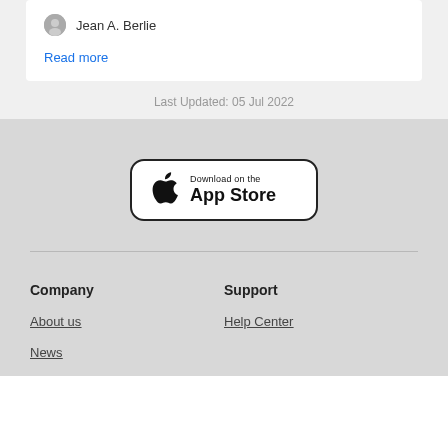Jean A. Berlie
Read more
Last Updated: 05 Jul 2022
[Figure (logo): Download on the App Store button with Apple logo]
Company
About us
News
Support
Help Center